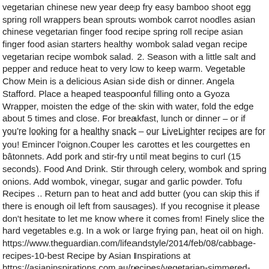vegetarian chinese new year deep fry easy bamboo shoot egg spring roll wrappers bean sprouts wombok carrot noodles asian chinese vegetarian finger food recipe spring roll recipe asian finger food asian starters healthy wombok salad vegan recipe vegetarian recipe wombok salad. 2. Season with a little salt and pepper and reduce heat to very low to keep warm. Vegetable Chow Mein is a delicious Asian side dish or dinner. Angela Stafford. Place a heaped teaspoonful filling onto a Gyoza Wrapper, moisten the edge of the skin with water, fold the edge about 5 times and close. For breakfast, lunch or dinner – or if you're looking for a healthy snack – our LiveLighter recipes are for you! Emincer l'oignon.Couper les carottes et les courgettes en bâtonnets. Add pork and stir-fry until meat begins to curl (15 seconds). Food And Drink. Stir through celery, wombok and spring onions. Add wombok, vinegar, sugar and garlic powder. Tofu Recipes .. Return pan to heat and add butter (you can skip this if there is enough oil left from sausages). If you recognise it please don't hesitate to let me know where it comes from! Finely slice the hard vegetables e.g. In a wok or large frying pan, heat oil on high. https://www.theguardian.com/lifeandstyle/2014/feb/08/cabbage-recipes-10-best Recipe by Asian Inspirations at https://asianinspirations.com.au/recipes/vegetarian-simmered-mushrooms-with-wombok/, Copyright 2021 © Asian Inspirations. We did use a recipe the first time we made this but have since lost it. Apart from being delicious they provide a tantalising range of colours and textures all in the same dish.